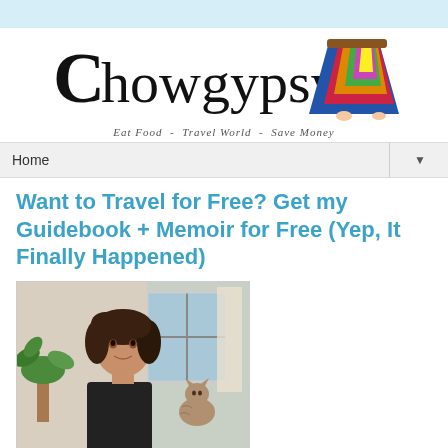[Figure (logo): ChowGypsy blog logo with stylized text and gypsy skirt illustration, tagline: Eat Food - Travel World - Save Money]
Home
Want to Travel for Free? Get my Guidebook + Memoir for Free (Yep, It Finally Happened)
[Figure (photo): Young woman with curly dark hair sitting indoors near a window with a potted palm plant, a cat visible to her right]